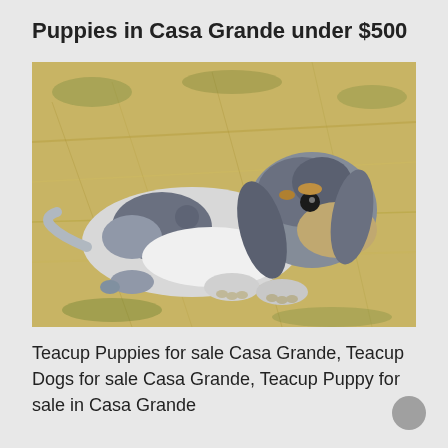Puppies in Casa Grande under $500
[Figure (photo): A dapple dachshund puppy with grey, white, and tan markings lying on dry grass/hay, facing the camera]
Teacup Puppies for sale Casa Grande, Teacup Dogs for sale Casa Grande, Teacup Puppy for sale in Casa Grande